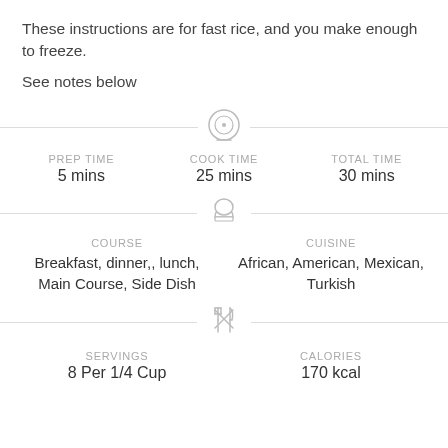These instructions are for fast rice, and you make enough to freeze.
See notes below
PREP TIME
5 mins
COOK TIME
25 mins
TOTAL TIME
30 mins
COURSE
Breakfast, dinner,, lunch, Main Course, Side Dish
CUISINE
African, American, Mexican, Turkish
SERVINGS
8 Per 1/4 Cup
CALORIES
170 kcal